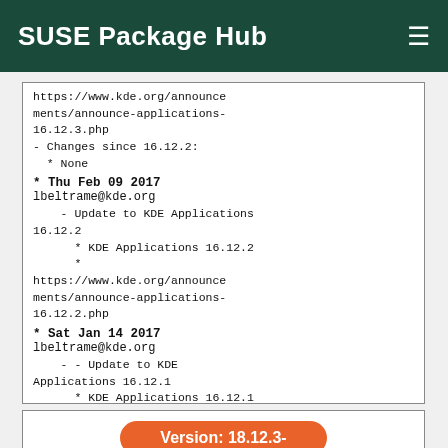SUSE Package Hub
https://www.kde.org/announcements/announce-applications-16.12.3.php
- Changes since 16.12.2:
  * None
* Thu Feb 09 2017
lbeltrame@kde.org
    - Update to KDE Applications 16.12.2
      * KDE Applications 16.12.2
      *
https://www.kde.org/announcements/announce-applications-16.12.2.php
* Sat Jan 14 2017
lbeltrame@kde.org
    - - Update to KDE Applications 16.12.1
      * KDE Applications 16.12.1
      *
https://www.kde.org/announcements/announce-applications-16.12.1.php
Version: 18.12.3-